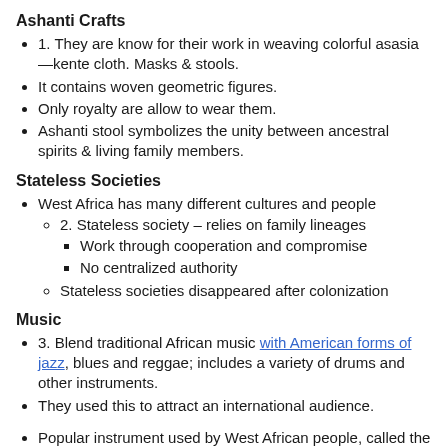Ashanti Crafts
1. They are know for their work in weaving colorful asasia—kente cloth. Masks & stools.
It contains woven geometric figures.
Only royalty are allow to wear them.
Ashanti stool symbolizes the unity between ancestral spirits & living family members.
Stateless Societies
West Africa has many different cultures and people
2. Stateless society – relies on family lineages
Work through cooperation and compromise
No centralized authority
Stateless societies disappeared after colonization
Music
3. Blend traditional African music with American forms of jazz, blues and reggae; includes a variety of drums and other instruments.
They used this to attract an international audience.
Popular instrument used by West African people, called the Djembe drum.